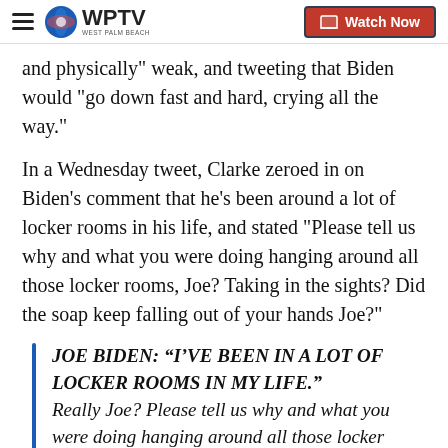WPTV — Watch Now
and physically" weak, and tweeting that Biden would "go down fast and hard, crying all the way."
In a Wednesday tweet, Clarke zeroed in on Biden's comment that he's been around a lot of locker rooms in his life, and stated "Please tell us why and what you were doing hanging around all those locker rooms, Joe? Taking in the sights? Did the soap keep falling out of your hands Joe?"
JOE BIDEN: “I’VE BEEN IN A LOT OF LOCKER ROOMS IN MY LIFE.” Really Joe? Please tell us why and what you were doing hanging around all those locker rooms, Joe? Taking in the sights?